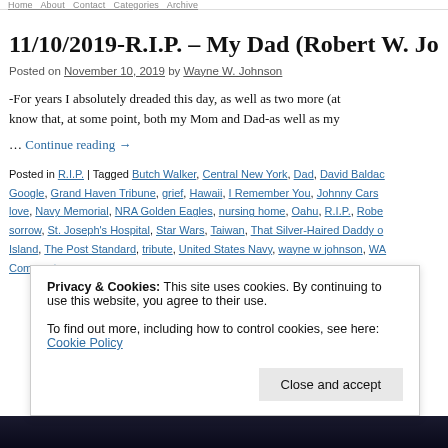navigation links (truncated)
11/10/2019-R.I.P. – My Dad (Robert W. Joh...
Posted on November 10, 2019 by Wayne W. Johnson
-For years I absolutely dreaded this day, as well as two more (at know that, at some point, both my Mom and Dad-as well as my …
… Continue reading →
Posted in R.I.P. | Tagged Butch Walker, Central New York, Dad, David Baldac Google, Grand Haven Tribune, grief, Hawaii, I Remember You, Johnny Cars love, Navy Memorial, NRA Golden Eagles, nursing home, Oahu, R.I.P., Robe sorrow, St. Joseph's Hospital, Star Wars, Taiwan, That Silver-Haired Daddy o Island, The Post Standard, tribute, United States Navy, wayne w johnson, WA Comments
Privacy & Cookies: This site uses cookies. By continuing to use this website, you agree to their use. To find out more, including how to control cookies, see here: Cookie Policy